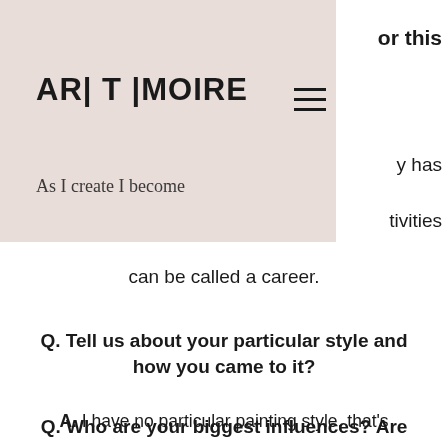ART MOIRE — As I create I become
or this
y has
tivities
can be called a career.
Q. Tell us about your particular style and how you came to it?
A. I have no particular painting style, that's my problem, when I start a new piece I paint and feel differently. Everything happens intuitively, like my technique, I didn't learn it anywhere. It's exciting because I don't know where the journey will take me.
Q. Who are your biggest influences? Are